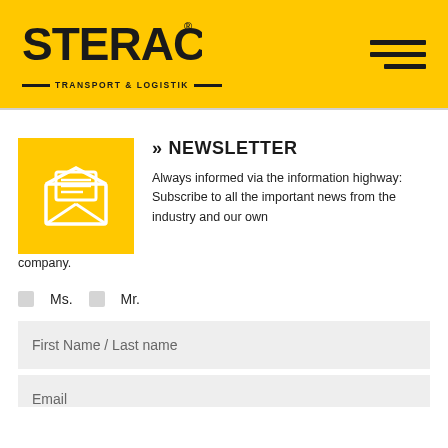[Figure (logo): STERAC Transport & Logistik logo on yellow background with hamburger menu icon]
>> NEWSLETTER
[Figure (illustration): Yellow square icon with white envelope/letter graphic]
Always informed via the information highway: Subscribe to all the important news from the industry and our own company.
Ms.  Mr.
First Name / Last name
Email